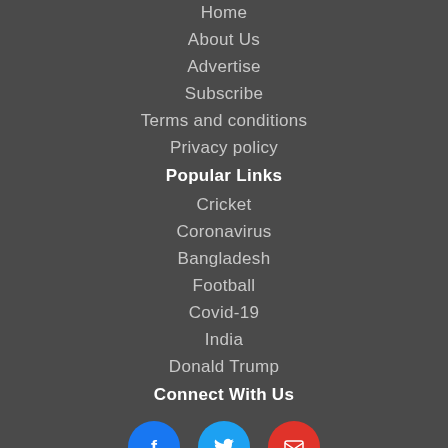Home
About Us
Advertise
Subscribe
Terms and conditions
Privacy policy
Popular Links
Cricket
Coronavirus
Bangladesh
Football
Covid-19
India
Donald Trump
Connect With Us
[Figure (infographic): Social media icons: Facebook (blue circle), Twitter (cyan circle), Email (red circle)]